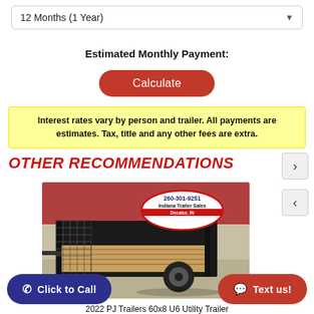12 Months (1 Year)
Estimated Monthly Payment:
Calculate
Interest rates vary by person and trailer. All payments are estimates. Tax, title and any other fees are extra.
OTHER RECOMMENDATIONS
[Figure (photo): Photo of a black utility trailer with wooden deck floor, mesh/ramp sides, single axle, parked on a concrete surface. Indiana Trailer Sales logo overlay with phone number 260-301-9251 and location Decatur, IN.]
Click to Call
Text us!
2022 PJ Trailers 60x8 U6 Utility Trailer